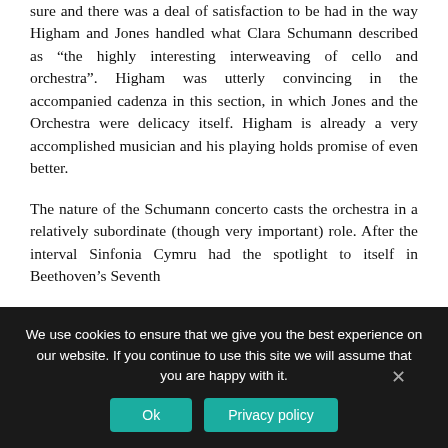sure and there was a deal of satisfaction to be had in the way Higham and Jones handled what Clara Schumann described as “the highly interesting interweaving of cello and orchestra”. Higham was utterly convincing in the accompanied cadenza in this section, in which Jones and the Orchestra were delicacy itself. Higham is already a very accomplished musician and his playing holds promise of even better.
The nature of the Schumann concerto casts the orchestra in a relatively subordinate (though very important) role. After the interval Sinfonia Cymru had the spotlight to itself in Beethoven’s Seventh
We use cookies to ensure that we give you the best experience on our website. If you continue to use this site we will assume that you are happy with it.